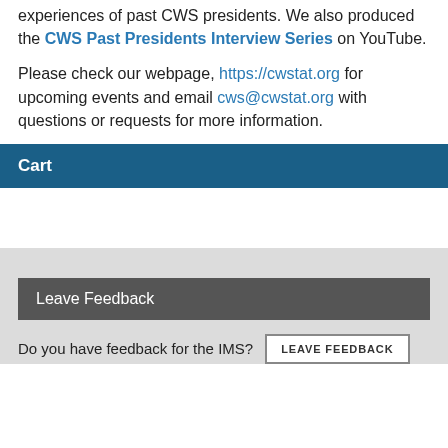experiences of past CWS presidents. We also produced the CWS Past Presidents Interview Series on YouTube.
Please check our webpage, https://cwstat.org for upcoming events and email cws@cwstat.org with questions or requests for more information.
Cart
Leave Feedback
Do you have feedback for the IMS? LEAVE FEEDBACK